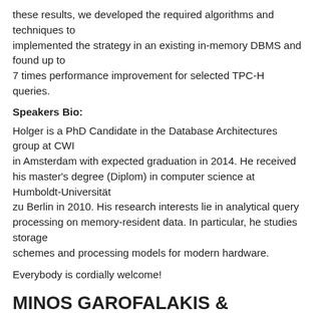these results, we developed the required algorithms and techniques to implemented the strategy in an existing in-memory DBMS and found up to 7 times performance improvement for selected TPC-H queries.
Speakers Bio:
Holger is a PhD Candidate in the Database Architectures group at CWI in Amsterdam with expected graduation in 2014. He received his master's degree (Diplom) in computer science at Humboldt-Universität zu Berlin in 2010. His research interests lie in analytical query processing on memory-resident data. In particular, he studies storage schemes and processing models for modern hardware.
Everybody is cordially welcome!
MINOS GAROFALAKIS & ODYSSEAS PAPAPETROU, TECHNICAL UNIVERSITY OF CRETE
Title: Querying Distributed Data Streams
Minos Garofalakis & Odysseas Papapetrou, Technical University